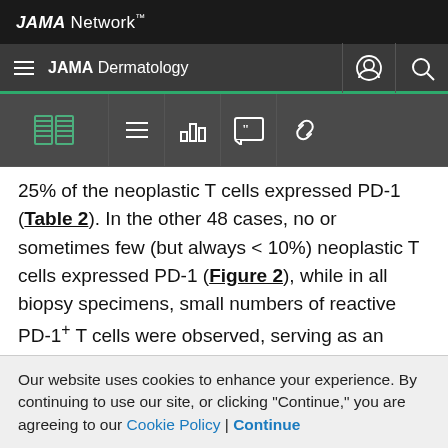JAMA Network
JAMA Dermatology
25% of the neoplastic T cells expressed PD-1 (Table 2). In the other 48 cases, no or sometimes few (but always < 10%) neoplastic T cells expressed PD-1 (Figure 2), while in all biopsy specimens, small numbers of reactive PD-1+ T cells were observed, serving as an internal control. Examination of serial sections showed that both CXCL13 and BCL6 generally stained 25% to 50% of the PD-1+ cells. CD10 was expressed by almost all neoplastic T cells
Our website uses cookies to enhance your experience. By continuing to use our site, or clicking "Continue," you are agreeing to our Cookie Policy | Continue